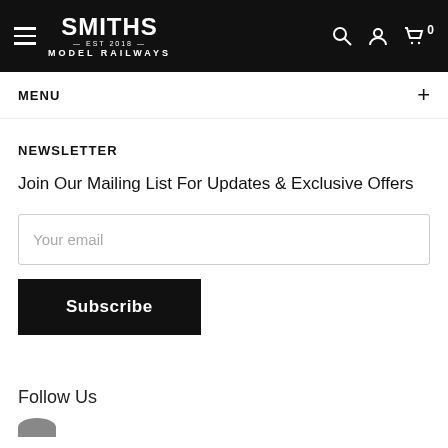Smiths Model Railways — EST 2018 — header with hamburger menu, search, account, cart icons
MENU +
NEWSLETTER
Join Our Mailing List For Updates & Exclusive Offers
Your email
Subscribe
Follow Us